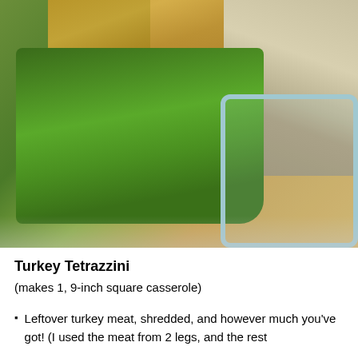[Figure (photo): Close-up photo of a turkey tetrazzini casserole in a glass baking dish, showing fresh green beans on the left side and pasta/noodles mixed with turkey and mushrooms on the right, with melted cheese visible at the top]
Turkey Tetrazzini
(makes 1, 9-inch square casserole)
Leftover turkey meat, shredded, and however much you've got! (I used the meat from 2 legs, and the rest